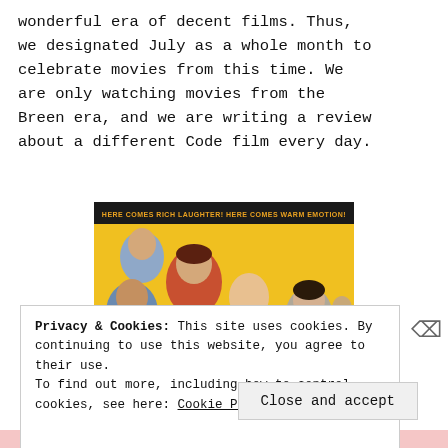wonderful era of decent films. Thus, we designated July as a whole month to celebrate movies from this time. We are only watching movies from the Breen era, and we are writing a review about a different Code film every day.
[Figure (photo): Movie poster for 'Here Comes Mr. Jordan' with text 'HERE COMES RICH LAUGHTER! HERE COMES WARM EMOTION!' on a yellow background, featuring several actors including a woman, a man with a saxophone, and others.]
Privacy & Cookies: This site uses cookies. By continuing to use this website, you agree to their use.
To find out more, including how to control cookies, see here: Cookie Policy
Close and accept